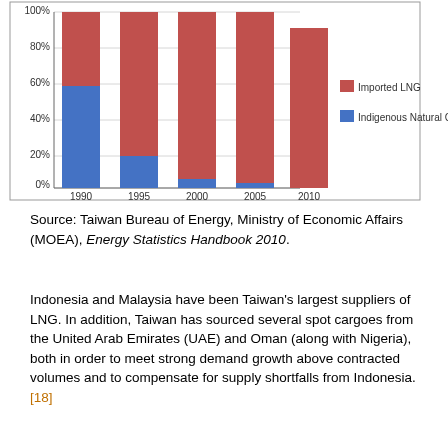[Figure (stacked-bar-chart): Taiwan Natural Gas Supply]
Source: Taiwan Bureau of Energy, Ministry of Economic Affairs (MOEA), Energy Statistics Handbook 2010.
Indonesia and Malaysia have been Taiwan's largest suppliers of LNG. In addition, Taiwan has sourced several spot cargoes from the United Arab Emirates (UAE) and Oman (along with Nigeria), both in order to meet strong demand growth above contracted volumes and to compensate for supply shortfalls from Indonesia.[18]